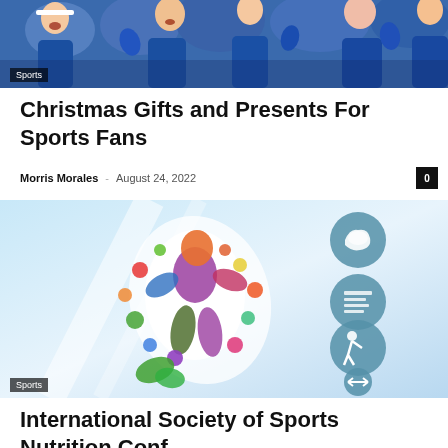[Figure (photo): Sports fans cheering in blue, with painted hands raised, woman in foreground shouting]
Sports
Christmas Gifts and Presents For Sports Fans
Morris Morales  –  August 24, 2022
[Figure (illustration): Sports nutrition infographic showing a colorful human figure made of fruits and vegetables, with circular icons on the right showing fitness symbols]
Sports
International Society of Sports Nutrition Conf...